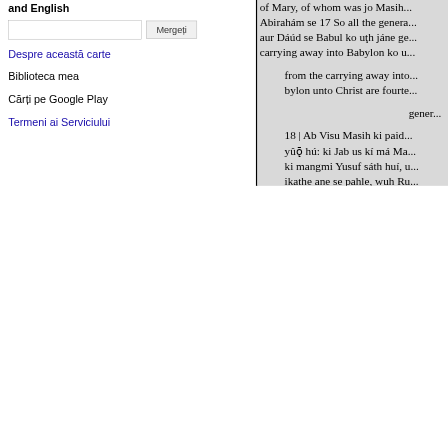and English
Despre această carte
Biblioteca mea
Cărți pe Google Play
Termeni ai Serviciului
of Mary, of whom was Jo Masih... Abirahim se 17 So all the genera... aur Dáúd se Babul ko uţh jáne ge... carrying away into Babylon ko u... from the carrying away into... bylon unto Christ are fourte... gener... 18 | Ab Visu Masih ki paid... yûǭ hú: ki Jab us kí má Ma... ki mangmi Yusuf sáth huí, u... ikathe ane se pahle, wuh Ru... Quds se hámila pá,í ga,í. the Holy Ghost. 19 Tab us ke sha... use being a just man, and not wil... se chhor de. wily. 20 Wuh in báton ke soch hi... things, behold, the rishte ne us p... Ibn i Dáúd, him in a dream, sayi... le ane se mat dar ; kyunki take u...